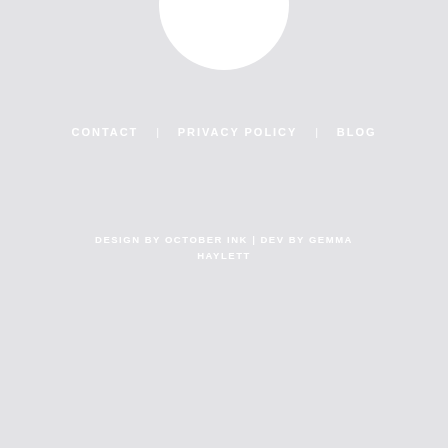[Figure (logo): White circular logo or avatar partially visible at top center of page]
CONTACT   PRIVACY POLICY   BLOG
DESIGN BY OCTOBER INK | DEV BY GEMMA HAYLETT